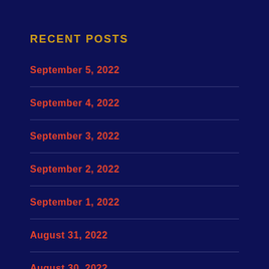RECENT POSTS
September 5, 2022
September 4, 2022
September 3, 2022
September 2, 2022
September 1, 2022
August 31, 2022
August 30, 2022